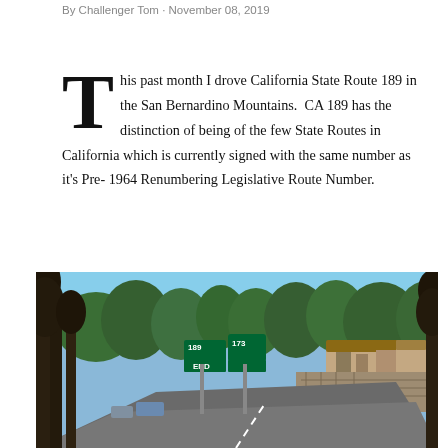By Challenger Tom · November 08, 2019
This past month I drove California State Route 189 in the San Bernardino Mountains.  CA 189 has the distinction of being of the few State Routes in California which is currently signed with the same number as it's Pre-1964 Renumbering Legislative Route Number.
[Figure (photo): Road scene with California State Route 189 END sign and Route 173 sign, surrounded by pine trees and mountain town buildings in the San Bernardino Mountains, sunny day.]